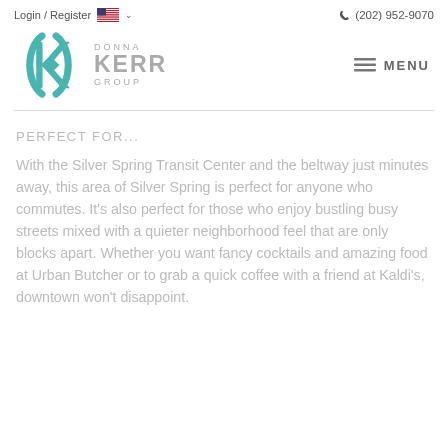Login / Register   (202) 952-9070
[Figure (logo): Donna Kerr Group teal K logo with company name]
PERFECT FOR...
With the Silver Spring Transit Center and the beltway just minutes away, this area of Silver Spring is perfect for anyone who commutes. It's also perfect for those who enjoy bustling busy streets mixed with a quieter neighborhood feel that are only blocks apart. Whether you want fancy cocktails and amazing food at Urban Butcher or to grab a quick coffee with a friend at Kaldi's, downtown won't disappoint.